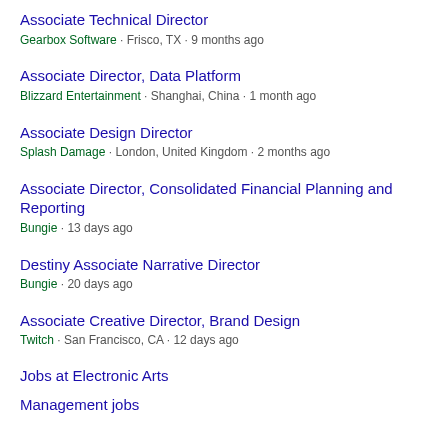Associate Technical Director
Gearbox Software · Frisco, TX · 9 months ago
Associate Director, Data Platform
Blizzard Entertainment · Shanghai, China · 1 month ago
Associate Design Director
Splash Damage · London, United Kingdom · 2 months ago
Associate Director, Consolidated Financial Planning and Reporting
Bungie · 13 days ago
Destiny Associate Narrative Director
Bungie · 20 days ago
Associate Creative Director, Brand Design
Twitch · San Francisco, CA · 12 days ago
Jobs at Electronic Arts
Management jobs